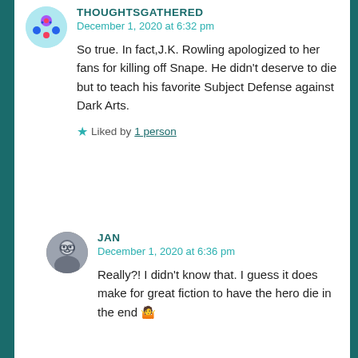THOUGHTSGATHERED
December 1, 2020 at 6:32 pm
So true. In fact,J.K. Rowling apologized to her fans for killing off Snape. He didn't deserve to die but to teach his favorite Subject Defense against Dark Arts.
★ Liked by 1 person
JAN
December 1, 2020 at 6:36 pm
Really?! I didn't know that. I guess it does make for great fiction to have the hero die in the end 🤷